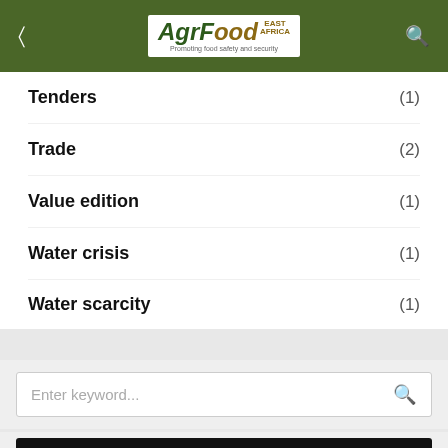AgrFood East Africa — Promoting food safety and security
Tenders (1)
Trade (2)
Value edition (1)
Water crisis (1)
Water scarcity (1)
Enter keyword...
On Instagram
Please enter an Access Token